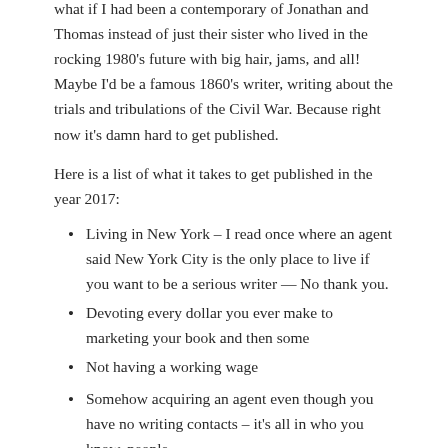what if I had been a contemporary of Jonathan and Thomas instead of just their sister who lived in the rocking 1980's future with big hair, jams, and all! Maybe I'd be a famous 1860's writer, writing about the trials and tribulations of the Civil War. Because right now it's damn hard to get published.
Here is a list of what it takes to get published in the year 2017:
Living in New York – I read once where an agent said New York City is the only place to live if you want to be a serious writer — No thank you.
Devoting every dollar you ever make to marketing your book and then some
Not having a working wage
Somehow acquiring an agent even though you have no writing contacts – it's all in who you know, people,